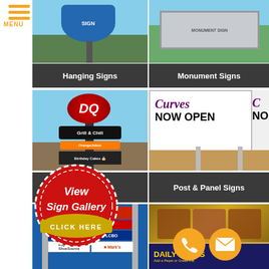[Figure (photo): Mobile website menu with hamburger icon and MENU text in orange]
[Figure (photo): Photo of a hanging sign – blue shaped sign on post with trees]
[Figure (photo): Photo of a monument sign in a grassy area]
Hanging Signs
Monument Signs
[Figure (photo): Dairy Queen DQ Grill & Chill pylon sign with multiple tenant panels]
[Figure (photo): Curves NOW OPEN post and panel sign]
Post & Panel Signs
[Figure (other): View Sign Gallery - CLICK HERE red badge overlay]
[Figure (photo): Multi-tenant pylon sign with Michaels, Staples, Moores, LCBO, Payless, Mark's panels]
[Figure (photo): Daily Deals restaurant menu board sign photo]